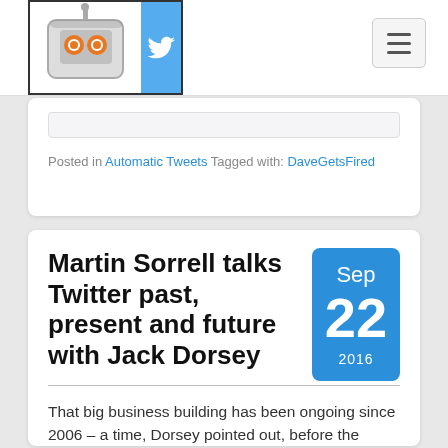Posted in Automatic Tweets Tagged with: DaveGetsFired
Martin Sorrell talks Twitter past, present and future with Jack Dorsey
That big business building has been ongoing since 2006 – a time, Dorsey pointed out, before the iPhone – but
Continue Reading